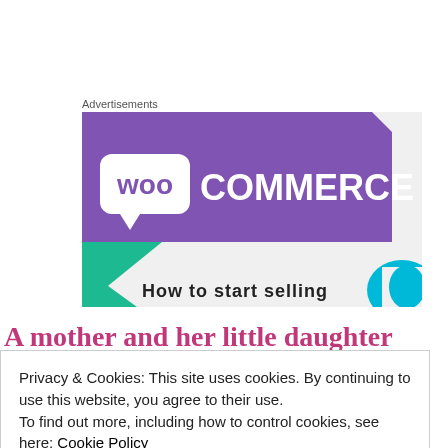Advertisements
[Figure (logo): WooCommerce advertisement banner with purple background showing the WooCommerce logo (woo in a speech bubble followed by COMMERCE text), with teal and cyan geometric shapes, and partially visible text 'How to start selling']
A mother and her little daughter enjoying her
Privacy & Cookies: This site uses cookies. By continuing to use this website, you agree to their use.
To find out more, including how to control cookies, see here: Cookie Policy
Close and accept
my feet to go out and teach the little girl a